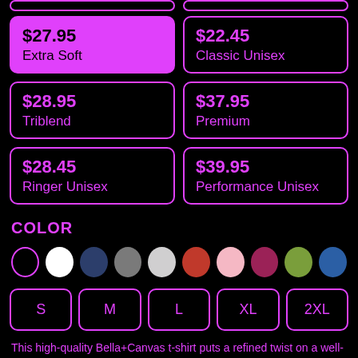$27.95 Extra Soft (selected/highlighted)
$22.45 Classic Unisex
$28.95 Triblend
$37.95 Premium
$28.45 Ringer Unisex
$39.95 Performance Unisex
COLOR
[Figure (other): Color swatches: outlined (selected), white, dark navy, gray, light gray/silver, red, light pink, magenta/dark pink, olive green, blue]
S
M
L
XL
2XL
This high-quality Bella+Canvas t-shirt puts a refined twist on a well-